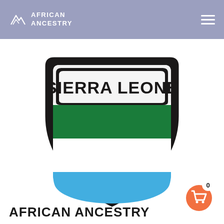African Ancestry
[Figure (logo): African Ancestry Sierra Leone shield logo with three horizontal stripes (white banner with SIERRA LEONE text, green, white, blue) inside a black shield outline]
AFRICAN ANCESTRY